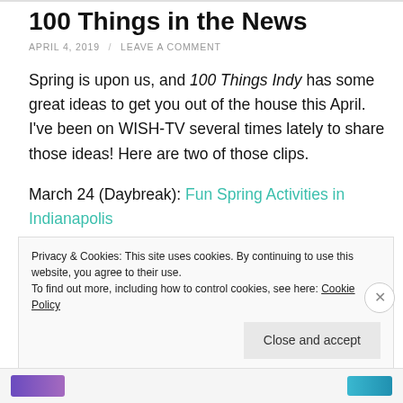100 Things in the News
APRIL 4, 2019 / LEAVE A COMMENT
Spring is upon us, and 100 Things Indy has some great ideas to get you out of the house this April. I've been on WISH-TV several times lately to share those ideas! Here are two of those clips.
March 24 (Daybreak): Fun Spring Activities in Indianapolis
Privacy & Cookies: This site uses cookies. By continuing to use this website, you agree to their use.
To find out more, including how to control cookies, see here: Cookie Policy
Close and accept